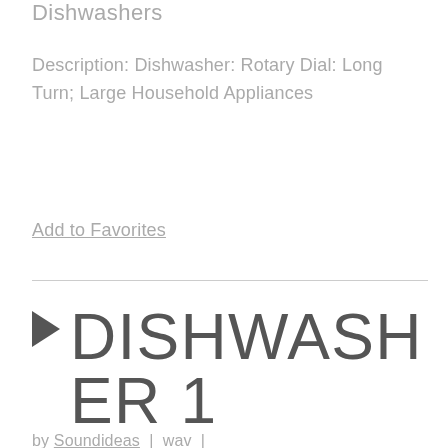Dishwashers
Description: Dishwasher: Rotary Dial: Long Turn; Large Household Appliances
Add to Favorites
DISHWASHER 1
by Soundideas | wav |